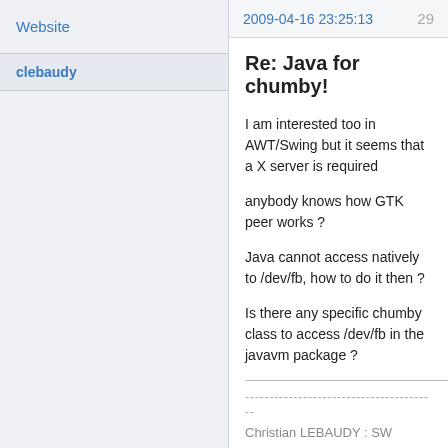Website
clebaudy
2009-04-16 23:25:13
29
Re: Java for chumby!
I am interested too in AWT/Swing but it seems that a X server is required
anybody knows how GTK peer works ?
Java cannot access natively to /dev/fb, how to do it then ?
Is there any specific chumby class to access /dev/fb in the javavm package ?
----------------------------------------
Christian LEBAUDY  :  SW Engineer (JAVA/C++ and more)
MSN : clebaudy AT hotmail DOT com
Agility and open source are the key to achieve SW
Agility and open source are the key to achieve SW